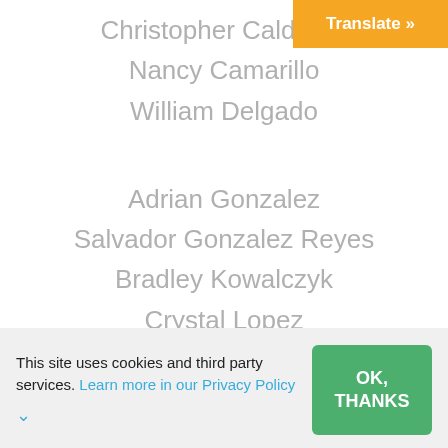Christopher Calderon
Nancy Camarillo
William Delgado
Adrian Gonzalez
Salvador Gonzalez Reyes
Bradley Kowalczyk
Crystal Lopez
Jose Luis Lopez
Haily Morejon
This site uses cookies and third party services. Learn more in our Privacy Policy
OK, THANKS